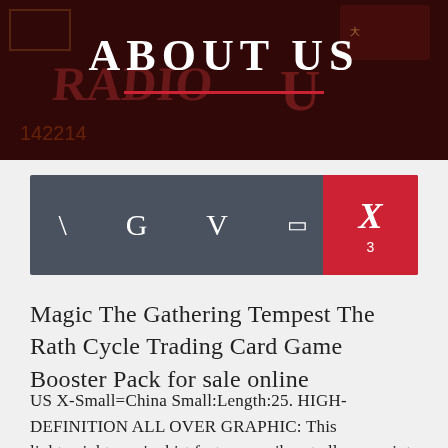[Figure (photo): Dark banner image with neon signs and 'RADIO U' text in the background, overlaid with 'ABOUT US' heading and a red horizontal line]
ABOUT US
[Figure (infographic): Navigation bar with dark gray background showing icons: backslash, G, V, two small rectangular icons, and an X with subscript 3 in a red active tab]
Magic The Gathering Tempest The Rath Cycle Trading Card Game Booster Pack for sale online
US X-Small=China Small:Length:25. HIGH-DEFINITION ALL OVER GRAPHIC: This lightweight men's shirt features a vibrant all over print on front and back on a super soft